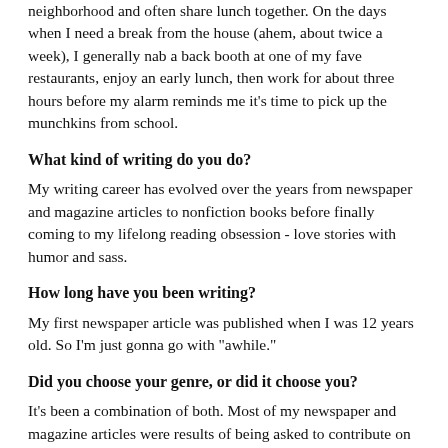neighborhood and often share lunch together. On the days when I need a break from the house (ahem, about twice a week), I generally nab a back booth at one of my fave restaurants, enjoy an early lunch, then work for about three hours before my alarm reminds me it's time to pick up the munchkins from school.
What kind of writing do you do?
My writing career has evolved over the years from newspaper and magazine articles to nonfiction books before finally coming to my lifelong reading obsession - love stories with humor and sass.
How long have you been writing?
My first newspaper article was published when I was 12 years old. So I'm just gonna go with "awhile."
Did you choose your genre, or did it choose you?
It's been a combination of both. Most of my newspaper and magazine articles were results of being asked to contribute on a specific topic. My first nonfiction book - (dis)Abilities and the Gospel - came as a request from parents of children with special needs. My hubby and I cofounded a nonprofit for